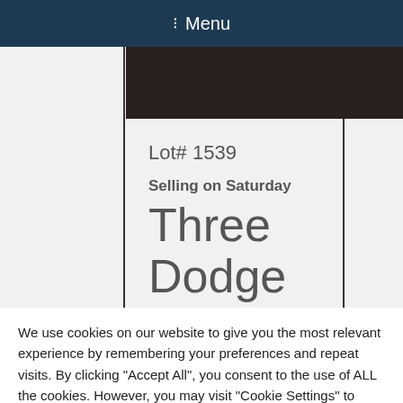☰ Menu
[Figure (photo): Dark photo of auction item (vehicle), partially visible at top of listing card]
Lot# 1539
Selling on Saturday
Three Dodge Ram
We use cookies on our website to give you the most relevant experience by remembering your preferences and repeat visits. By clicking "Accept All", you consent to the use of ALL the cookies. However, you may visit "Cookie Settings" to provide a controlled consent.
Cookie Settings
Accept All